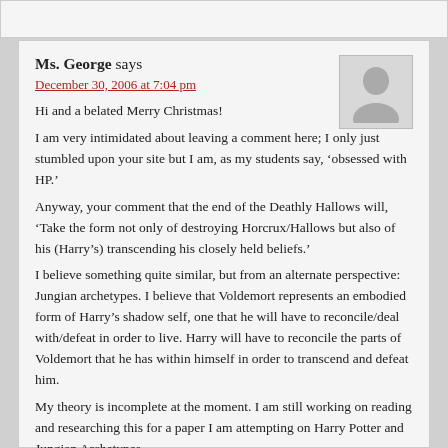Ms. George says
December 30, 2006 at 7:04 pm
Hi and a belated Merry Christmas!
I am very intimidated about leaving a comment here; I only just stumbled upon your site but I am, as my students say, ‘obsessed with HP.’
Anyway, your comment that the end of the Deathly Hallows will, ‘Take the form not only of destroying Horcrux/Hallows but also of his (Harry’s) transcending his closely held beliefs.’
I believe something quite similar, but from an alternate perspective: Jungian archetypes. I believe that Voldemort represents an embodied form of Harry’s shadow self, one that he will have to reconcile/deal with/defeat in order to live. Harry will have to reconcile the parts of Voldemort that he has within himself in order to transcend and defeat him.
My theory is incomplete at the moment. I am still working on reading and researching this for a paper I am attempting on Harry Potter and Jungian Archetypes.